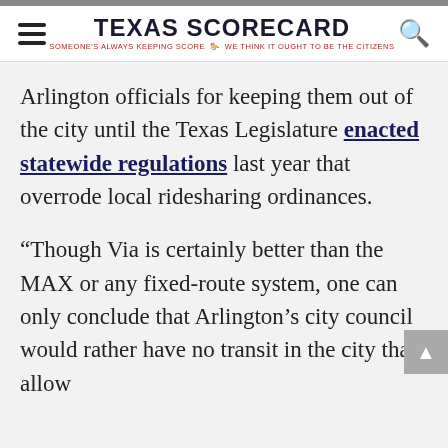TEXAS SCORECARD — SOMEONE'S ALWAYS KEEPING SCORE · WE THINK IT OUGHT TO BE THE CITIZENS
Arlington officials for keeping them out of the city until the Texas Legislature enacted statewide regulations last year that overrode local ridesharing ordinances.
“Though Via is certainly better than the MAX or any fixed-route system, one can only conclude that Arlington’s city council would rather have no transit in the city than allow